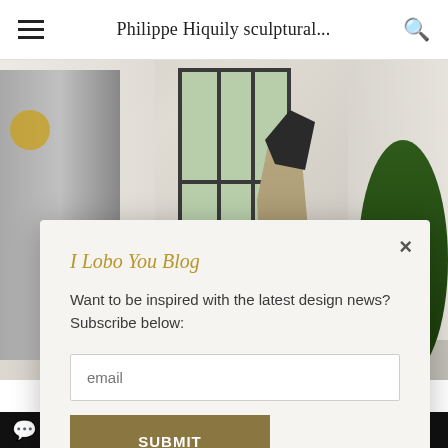Philippe Hiquily sculptural...
[Figure (photo): Interior room photo showing a sculptural art piece in front of a large window with curtains and a plant on the right side]
I Lobo You Blog
Want to be inspired with the latest design news? Subscribe below:
email
SUBMIT
IMPACTFUL MINDS